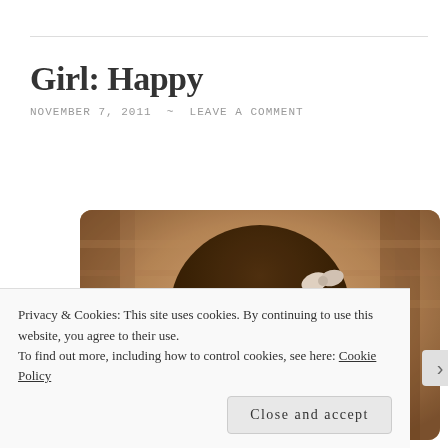Girl: Happy
NOVEMBER 7, 2011 ~ LEAVE A COMMENT
[Figure (photo): Vintage sepia-toned photograph of a young girl with curly hair and a bow, looking at the camera with a slight smile, outdoors background.]
Privacy & Cookies: This site uses cookies. By continuing to use this website, you agree to their use.
To find out more, including how to control cookies, see here: Cookie Policy
Close and accept